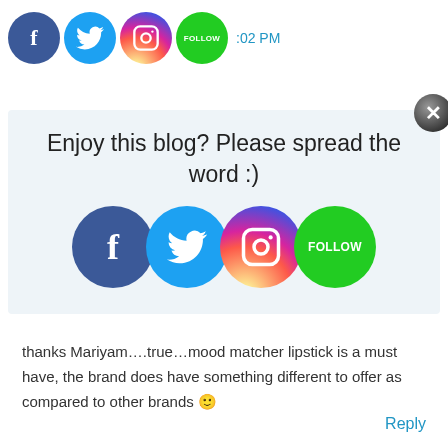[Figure (illustration): Social media icons (Facebook, Twitter, Instagram, Follow/Pinterest) in a top bar row with a timestamp partially visible]
[Figure (infographic): Popup box with light blue background saying 'Enjoy this blog? Please spread the word :)' with four social media icons (Facebook, Twitter, Instagram, Follow) and a close X button]
thanks Mariyam….true…mood matcher lipstick is a must have, the brand does have something different to offer as compared to other brands 🙂
Reply